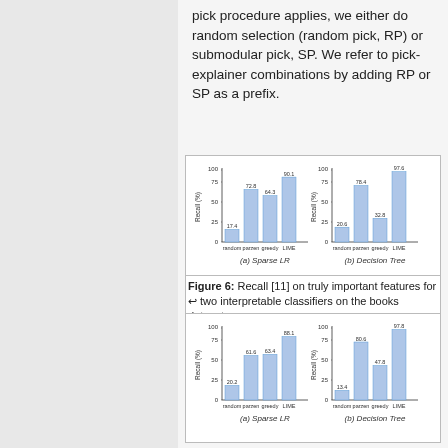pick procedure applies, we either do random selection (random pick, RP) or submodular pick, SP. We refer to pick-explainer combinations by adding RP or SP as a prefix.
[Figure (grouped-bar-chart): (a) Sparse LR]
[Figure (grouped-bar-chart): (b) Decision Tree]
Figure 6: Recall [11] on truly important features for two interpretable classifiers on the books dataset.
[Figure (grouped-bar-chart): (a) Sparse LR]
[Figure (grouped-bar-chart): (b) Decision Tree]